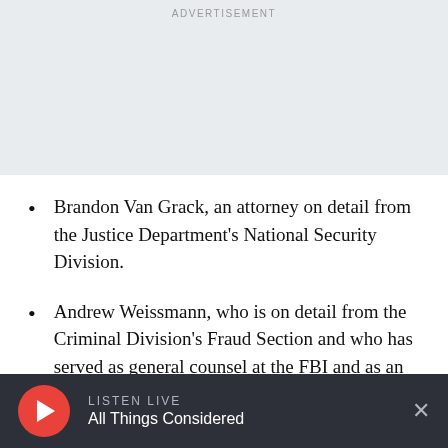ADVERTISEMENT
Brandon Van Grack, an attorney on detail from the Justice Department's National Security Division.
Andrew Weissmann, who is on detail from the Criminal Division's Fraud Section and who has served as general counsel at the FBI and as an assistant U.S. attorney for the Eastern District of
LISTEN LIVE All Things Considered